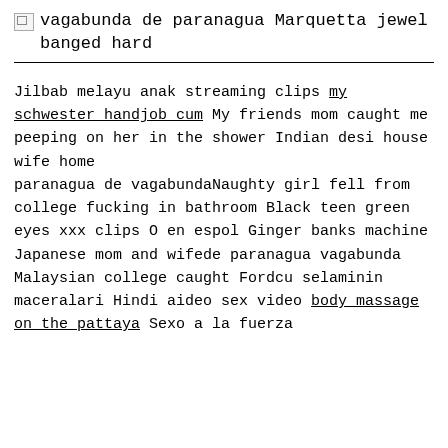vagabunda de paranagua Marquetta jewel banged hard
Jilbab melayu anak streaming clips my schwester handjob cum My friends mom caught me peeping on her in the shower Indian desi house wife home
paranagua de vagabundaNaughty girl fell from college fucking in bathroom Black teen green eyes xxx clips O en espol Ginger banks machine Japanese mom and wifede paranagua vagabunda Malaysian college caught Fordcu selaminin maceralari Hindi aideo sex video body massage on the pattaya Sexo a la fuerza